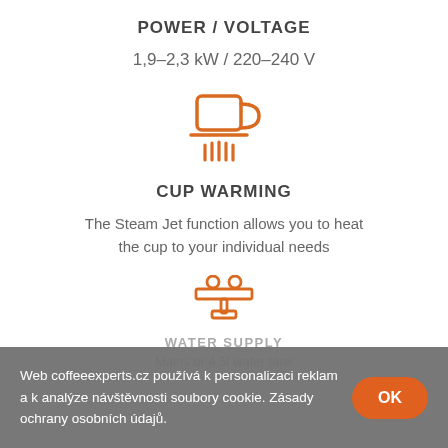POWER / VOLTAGE
1,9–2,3 kW / 220–240 V
[Figure (illustration): Orange icon of a coffee cup with steam lines below it indicating cup warming]
CUP WARMING
The Steam Jet function allows you to heat the cup to your individual needs
[Figure (illustration): Orange icon of a water tap/valve with pipe connections indicating water supply]
WATER SUPPLY
Mains or 4,5l water tank
Web coffeeexperts.cz používá k personalizaci reklam a k analýze návštěvnosti soubory cookie. Zásady ochrany osobních údajů.